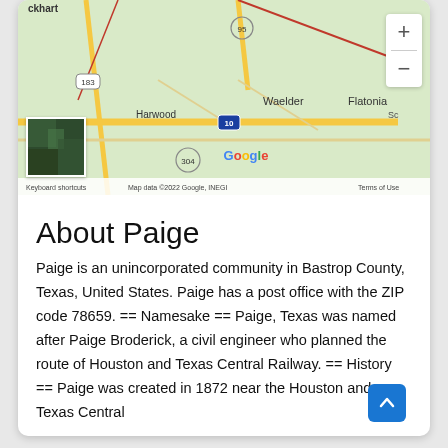[Figure (map): Google Maps view showing area around Paige, Texas including Harwood, Waelder, Flatonia, roads 183, 95, 304, 10, and Google branding. Includes zoom controls and a satellite thumbnail.]
About Paige
Paige is an unincorporated community in Bastrop County, Texas, United States. Paige has a post office with the ZIP code 78659. == Namesake == Paige, Texas was named after Paige Broderick, a civil engineer who planned the route of Houston and Texas Central Railway. == History == Paige was created in 1872 near the Houston and Texas Central